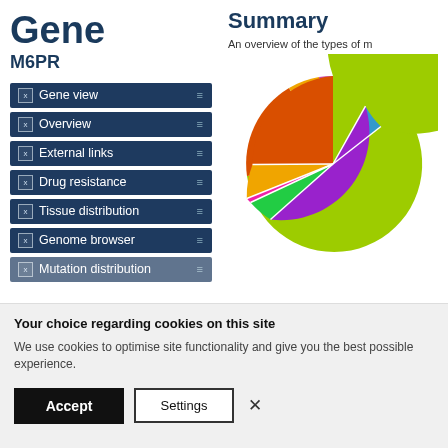Gene
M6PR
Gene view
Overview
External links
Drug resistance
Tissue distribution
Genome browser
Mutation distribution
Summary
An overview of the types of m
[Figure (pie-chart): Pie chart showing distribution of mutation types for gene M6PR. Slices include yellow-green (largest, ~40%), red-orange (~18%), purple/magenta (~18%), orange-yellow (~8%), green (~5%), blue (~4%), and other small slices.]
Your choice regarding cookies on this site
We use cookies to optimise site functionality and give you the best possible experience.